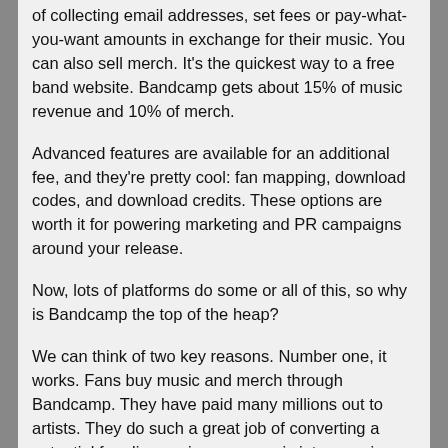of collecting email addresses, set fees or pay-what-you-want amounts in exchange for their music. You can also sell merch. It's the quickest way to a free band website. Bandcamp gets about 15% of music revenue and 10% of merch.
Advanced features are available for an additional fee, and they're pretty cool: fan mapping, download codes, and download credits. These options are worth it for powering marketing and PR campaigns around your release.
Now, lots of platforms do some or all of this, so why is Bandcamp the top of the heap?
We can think of two key reasons. Number one, it works. Fans buy music and merch through Bandcamp. They have paid many millions out to artists. They do such a great job of converting a potential fan discovering your music into a paying customer (or a pay-what-you-want customer), or if they don't pay, at least you've captured their email, which has its own important value. The incredibly user-friendly interface, for both fans and artists managing their pages, plays a big role in encouraging those transactions.